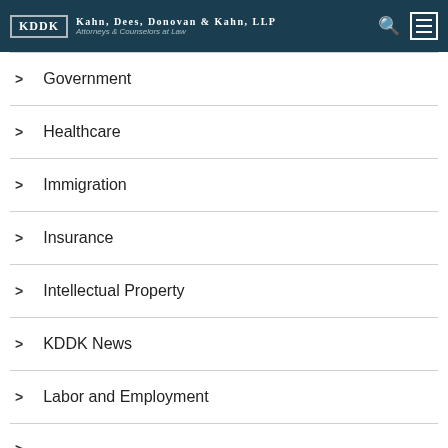KDDK | Kahn, Dees, Donovan & Kahn, LLP | Attorneys & Counselors at Law
Government
Healthcare
Immigration
Insurance
Intellectual Property
KDDK News
Labor and Employment
Landlord Tenant (partial)